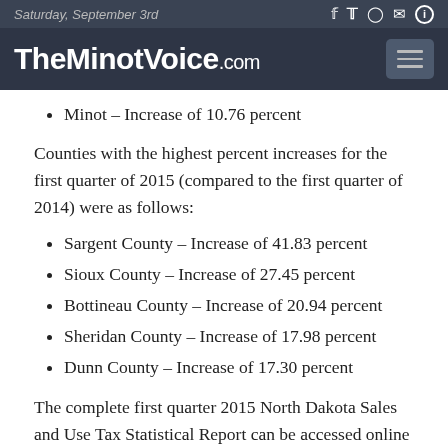Saturday, September 3rd
TheMinotVoice.com
Minot – Increase of 10.76 percent
Counties with the highest percent increases for the first quarter of 2015 (compared to the first quarter of 2014) were as follows:
Sargent County – Increase of 41.83 percent
Sioux County – Increase of 27.45 percent
Bottineau County – Increase of 20.94 percent
Sheridan County – Increase of 17.98 percent
Dunn County – Increase of 17.30 percent
The complete first quarter 2015 North Dakota Sales and Use Tax Statistical Report can be accessed online at